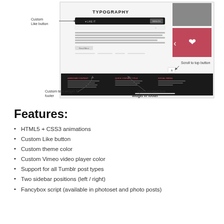[Figure (screenshot): Screenshot of a WordPress/Tumblr theme showing a typography page with a custom Like button, scroll to top button, custom text widget in footer, and quick contact text widget in footer. Annotated with arrows pointing to UI elements.]
Custom Like button
Scroll to top button
Custom text widget in footer
Quick contact text widget in footer
Features:
HTML5 + CSS3 animations
Custom Like button
Custom theme color
Custom Vimeo video player color
Support for all Tumblr post types
Two sidebar positions (left / right)
Fancybox script (available in photoset and photo posts)